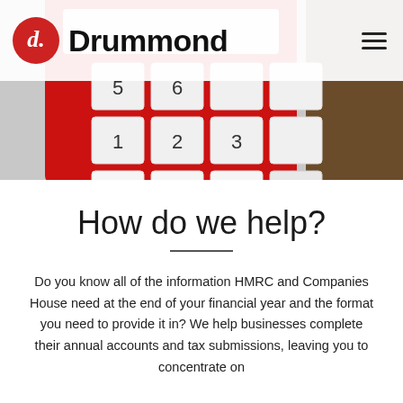[Figure (screenshot): Hero image showing a red calculator with white buttons displaying digits 0, dot, equals, plus signs visible on the keypad]
Drummond
How do we help?
Do you know all of the information HMRC and Companies House need at the end of your financial year and the format you need to provide it in? We help businesses complete their annual accounts and tax submissions, leaving you to concentrate on